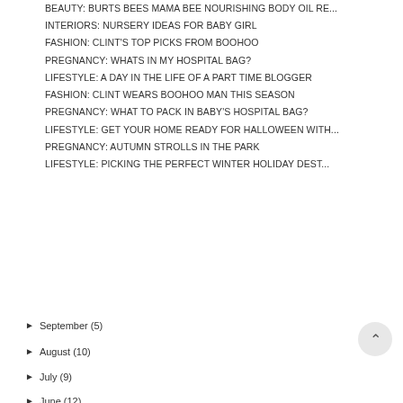BEAUTY: BURTS BEES MAMA BEE NOURISHING BODY OIL RE...
INTERIORS: NURSERY IDEAS FOR BABY GIRL
FASHION: CLINT'S TOP PICKS FROM BOOHOO
PREGNANCY: WHATS IN MY HOSPITAL BAG?
LIFESTYLE: A DAY IN THE LIFE OF A PART TIME BLOGGER
FASHION: CLINT WEARS BOOHOO MAN THIS SEASON
PREGNANCY: WHAT TO PACK IN BABY'S HOSPITAL BAG?
LIFESTYLE: GET YOUR HOME READY FOR HALLOWEEN WITH...
PREGNANCY: AUTUMN STROLLS IN THE PARK
LIFESTYLE: PICKING THE PERFECT WINTER HOLIDAY DEST...
► September (5)
► August (10)
► July (9)
► June (12)